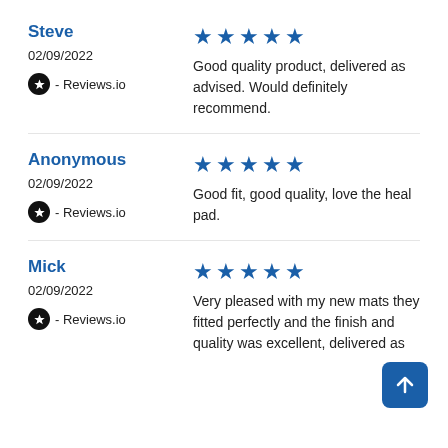Steve
02/09/2022
- Reviews.io
[Figure (other): 5 blue stars rating]
Good quality product, delivered as advised. Would definitely recommend.
Anonymous
02/09/2022
- Reviews.io
[Figure (other): 5 blue stars rating]
Good fit, good quality, love the heal pad.
Mick
02/09/2022
- Reviews.io
[Figure (other): 5 blue stars rating]
Very pleased with my new mats they fitted perfectly and the finish and quality was excellent, delivered as